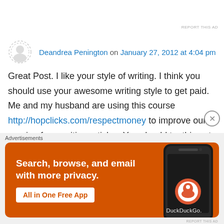REPORT THIS AD
Deandrea Penington on January 27, 2012 at 4:04 pm
Great Post. I like your style of writing. I think you should use your awesome writing style to get paid. Me and my husband are using this course http://hopclicks.com/respectmoney to improve our earning from writing articles. You should try this out.
Like
Advertisements
[Figure (screenshot): DuckDuckGo advertisement banner with orange background. Text reads 'Search, browse, and email with more privacy. All in One Free App' with DuckDuckGo logo and phone image.]